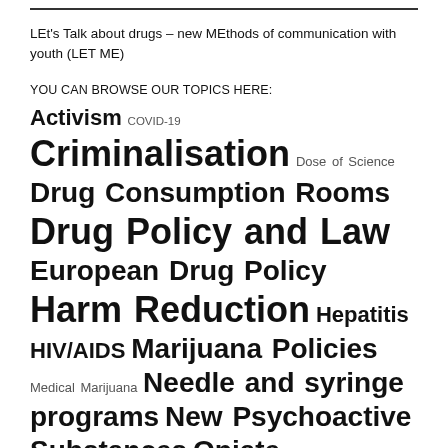LEt's Talk about drugs – new MEthods of communication with youth (LET ME)
YOU CAN BROWSE OUR TOPICS HERE:
Activism COVID-19 Criminalisation Dose of Science Drug Consumption Rooms Drug Policy and Law European Drug Policy Harm Reduction Hepatitis HIV/AIDS Marijuana Policies Medical Marijuana Needle and syringe programs New Psychoactive Substances Opiate Substitution